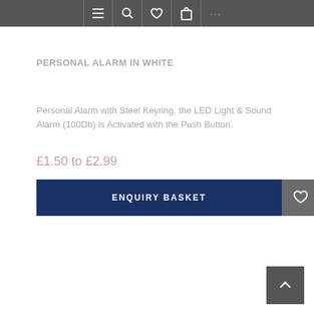Navigation bar with icons: menu, search, heart/wishlist, bag/cart, more (...)
PERSONAL ALARM IN WHITE
Personal Alarm with Steel Keyring. the LED Light & Sound Alarm (100Db) is Activated with the Push Button.
£1.50 to £2.99
ENQUIRY BASKET